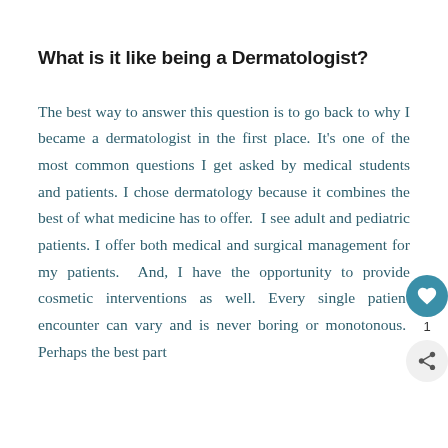What is it like being a Dermatologist?
The best way to answer this question is to go back to why I became a dermatologist in the first place. It's one of the most common questions I get asked by medical students and patients. I chose dermatology because it combines the best of what medicine has to offer.  I see adult and pediatric patients. I offer both medical and surgical management for my patients.  And, I have the opportunity to provide cosmetic interventions as well. Every single patient encounter can vary and is never boring or monotonous.  Perhaps the best part